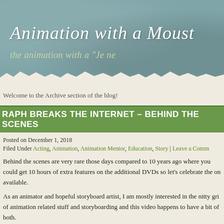Animation with a Moust
the animation with a "Je ne
Welcome to the Archive section of the blog!
RAPH BREAKS THE INTERNET – BEHIND THE SCENES
Posted on December 1, 2018
Filed Under Acting, Animation, Animation Mentor, Education, Story | Leave a Comm
Behind the scenes are very rare those days compared to 10 years ago where you could get 10 hours of extra features on the additional DVDs so let's celebrate the on available.
As an animator and hopeful storyboard artist, I am mostly interested in the nitty gri of animation related stuff and storyboarding and this video happens to have a bit of both.